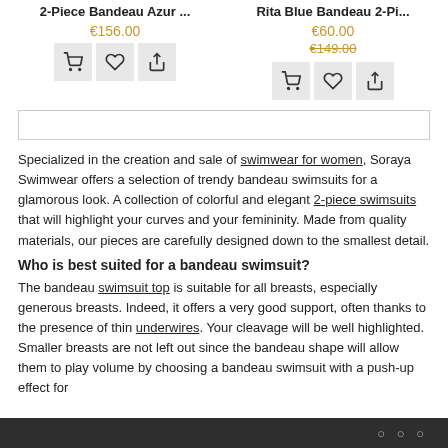2-Piece Bandeau Azur ...
€156.00
Rita Blue Bandeau 2-Pi...
€60.00
€149.00
Specialized in the creation and sale of swimwear for women, Soraya Swimwear offers a selection of trendy bandeau swimsuits for a glamorous look. A collection of colorful and elegant 2-piece swimsuits that will highlight your curves and your femininity. Made from quality materials, our pieces are carefully designed down to the smallest detail.
Who is best suited for a bandeau swimsuit?
The bandeau swimsuit top is suitable for all breasts, especially generous breasts. Indeed, it offers a very good support, often thanks to the presence of thin underwires. Your cleavage will be well highlighted. Smaller breasts are not left out since the bandeau shape will allow them to play volume by choosing a bandeau swimsuit with a push-up effect for
○ ○ ○